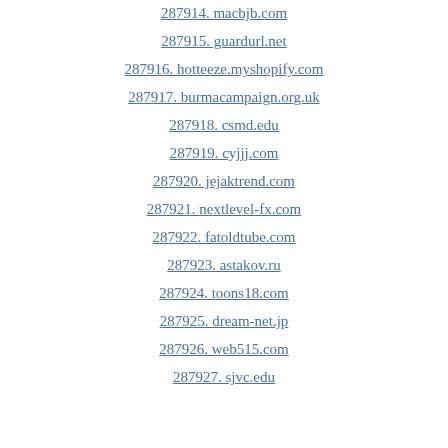287914. macbjb.com
287915. guardurl.net
287916. hotteeze.myshopify.com
287917. burmacampaign.org.uk
287918. csmd.edu
287919. cyjjj.com
287920. jejaktrend.com
287921. nextlevel-fx.com
287922. fatoldtube.com
287923. astakov.ru
287924. toons18.com
287925. dream-net.jp
287926. web515.com
287927. sjvc.edu